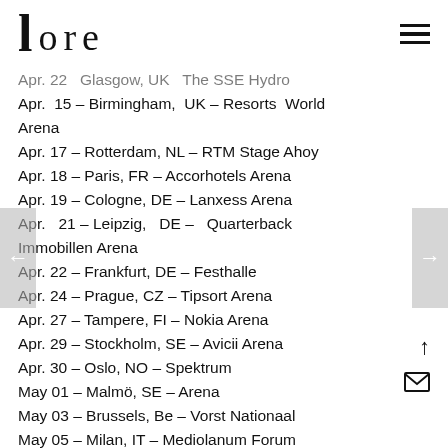lore
Apr. 22 – Glasgow, UK – The SSE Hydro
Apr. 15 – Birmingham, UK – Resorts World Arena
Apr. 17 – Rotterdam, NL – RTM Stage Ahoy
Apr. 18 – Paris, FR – Accorhotels Arena
Apr. 19 – Cologne, DE – Lanxess Arena
Apr. 21 – Leipzig, DE – Quarterback Immobillen Arena
Apr. 22 – Frankfurt, DE – Festhalle
Apr. 24 – Prague, CZ – Tipsort Arena
Apr. 27 – Tampere, FI – Nokia Arena
Apr. 29 – Stockholm, SE – Avicii Arena
Apr. 30 – Oslo, NO – Spektrum
May 01 – Malmö, SE – Arena
May 03 – Brussels, Be – Vorst Nationaal
May 05 – Milan, IT – Mediolanum Forum
May 07 – Barcelona, ES – Olympic Arena